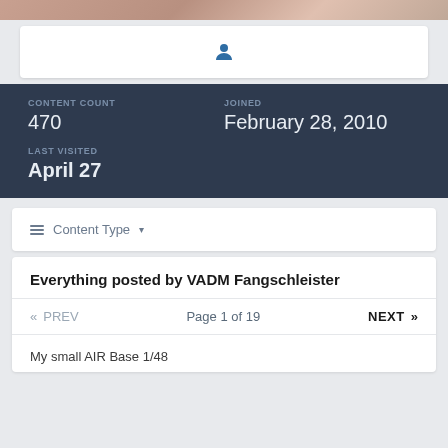[Figure (photo): Top decorative image band with warm tones]
[Figure (illustration): User avatar icon (person silhouette) inside white card]
CONTENT COUNT
470
JOINED
February 28, 2010
LAST VISITED
April 27
≡  Content Type ▾
Everything posted by VADM Fangschleister
«  PREV   Page 1 of 19   NEXT  »
My small AIR Base 1/48